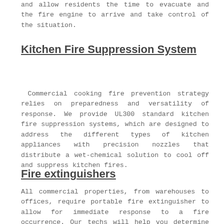and allow residents the time to evacuate and the fire engine to arrive and take control of the situation.
Kitchen Fire Suppression System
Commercial cooking fire prevention strategy relies on preparedness and versatility of response. We provide UL300 standard kitchen fire suppression systems, which are designed to address the different types of kitchen appliances with precision nozzles that distribute a wet-chemical solution to cool off and suppress kitchen fires.
Fire extinguishers
All commercial properties, from warehouses to offices, require portable fire extinguisher to allow for immediate response to a fire occurrence. Our techs will help you determine the type, size